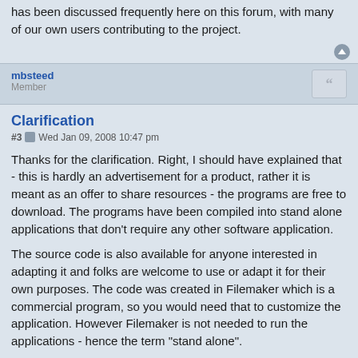has been discussed frequently here on this forum, with many of our own users contributing to the project.
mbsteed
Member
Clarification
#3  Wed Jan 09, 2008 10:47 pm
Thanks for the clarification. Right, I should have explained that - this is hardly an advertisement for a product, rather it is meant as an offer to share resources - the programs are free to download. The programs have been compiled into stand alone applications that don't require any other software application.
The source code is also available for anyone interested in adapting it and folks are welcome to use or adapt it for their own purposes. The code was created in Filemaker which is a commercial program, so you would need that to customize the application. However Filemaker is not needed to run the applications - hence the term "stand alone".
Hope that clarifies things.
WelchTC
Senior Member